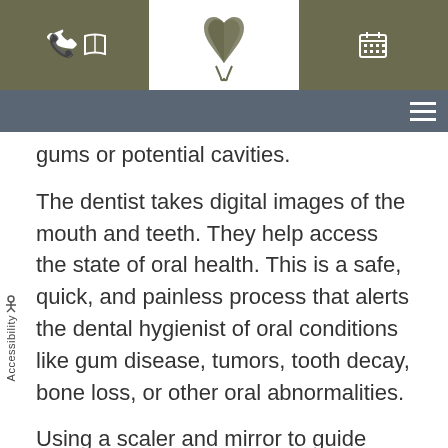[Figure (screenshot): Top navigation bar with phone, map/book, and calendar icons on olive/khaki background, with dental logo in center below]
gums or potential cavities.
The dentist takes digital images of the mouth and teeth. They help access the state of oral health. This is a safe, quick, and painless process that alerts the dental hygienist of oral conditions like gum disease, tumors, tooth decay, bone loss, or other oral abnormalities.
Using a scaler and mirror to guide them, a